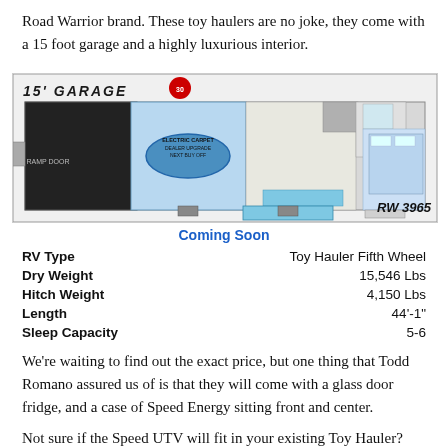Road Warrior brand. These toy haulers are no joke, they come with a 15 foot garage and a highly luxurious interior.
[Figure (illustration): Floor plan diagram of the Road Warrior RW 3965 toy hauler fifth wheel, showing a 15-foot garage section with ramp door, living area, bathroom, and bedroom, with 'Coming Soon' caption below.]
Coming Soon
| RV Type | Toy Hauler Fifth Wheel |
| Dry Weight | 15,546 Lbs |
| Hitch Weight | 4,150 Lbs |
| Length | 44'-1" |
| Sleep Capacity | 5-6 |
We’re waiting to find out the exact price, but one thing that Todd Romano assured us of is that they will come with a glass door fridge, and a case of Speed Energy sitting front and center.
Not sure if the Speed UTV will fit in your existing Toy Hauler?